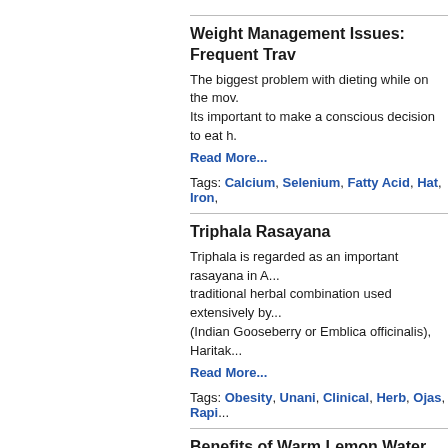Weight Management Issues: Frequent Trav...
The biggest problem with dieting while on the mov... Its important to make a conscious decision to eat h...
Read More...
Tags: Calcium, Selenium, Fatty Acid, Hat, Iron,
Triphala Rasayana
Triphala is regarded as an important rasayana in A... traditional herbal combination used extensively by... (Indian Gooseberry or Emblica officinalis), Haritak...
Read More...
Tags: Obesity, Unani, Clinical, Herb, Ojas, Rapi...
Benefits of Warm Lemon Water
Warm lemon water serves as the perfect 'good mo... the process of eliminating the waste products from...
Read More...
Tags: Selenium, Fatty Acid, Hat, Iron, Nutrition,
Fruit Cocktail
Read More...